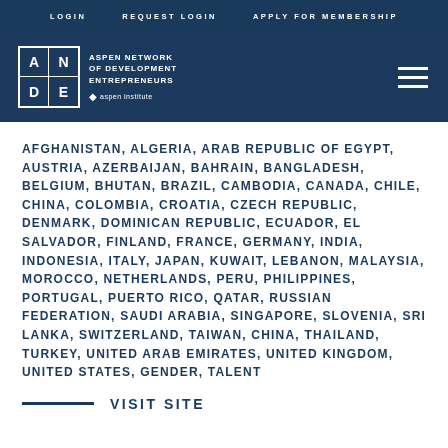LOGIN  REQUEST LOGIN  APPLY FOR MEMBERSHIP
[Figure (logo): ANDE - Aspen Network of Development Entrepreneurs logo with Aspen Institute branding and hamburger menu]
AFGHANISTAN, ALGERIA, ARAB REPUBLIC OF EGYPT, AUSTRIA, AZERBAIJAN, BAHRAIN, BANGLADESH, BELGIUM, BHUTAN, BRAZIL, CAMBODIA, CANADA, CHILE, CHINA, COLOMBIA, CROATIA, CZECH REPUBLIC, DENMARK, DOMINICAN REPUBLIC, ECUADOR, EL SALVADOR, FINLAND, FRANCE, GERMANY, INDIA, INDONESIA, ITALY, JAPAN, KUWAIT, LEBANON, MALAYSIA, MOROCCO, NETHERLANDS, PERU, PHILIPPINES, PORTUGAL, PUERTO RICO, QATAR, RUSSIAN FEDERATION, SAUDI ARABIA, SINGAPORE, SLOVENIA, SRI LANKA, SWITZERLAND, TAIWAN, CHINA, THAILAND, TURKEY, UNITED ARAB EMIRATES, UNITED KINGDOM, UNITED STATES, GENDER, TALENT
VISIT SITE